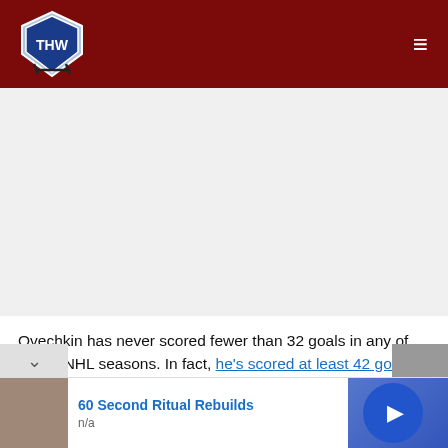THW (The Hockey Writers) site header with logo and hamburger menu
[Figure (other): Advertisement placeholder area (gray/white blank space)]
Ovechkin has never scored fewer than 32 goals in any of his 15 NHL seasons. In fact, he's scored at least 42 goals in 11 seasons. Only Wayne Gretzky (12) has more 40-goal seasons in NHL history. This season, Ovechkin's been on a tear, scoring at well over a 50-goal pace to vault himself through the 700- mark.
[Figure (other): Bottom advertisement banner: '60 Second Ritual Rebuilds', n/a, with thumbnail image and blue circular play/arrow button]